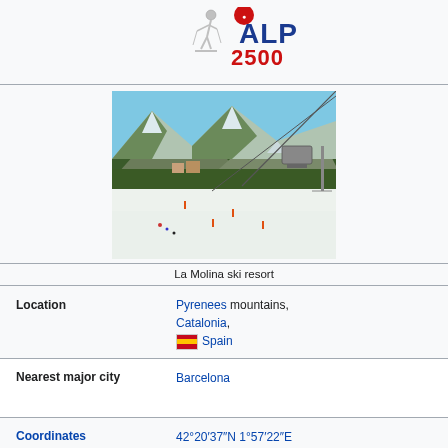[Figure (logo): ALP 2500 ski resort logo with skier figure, blue and red text]
[Figure (photo): La Molina ski resort aerial view showing snow-covered slopes, mountains in background, and a chairlift]
La Molina ski resort
| Field | Value |
| --- | --- |
| Location | Pyrenees mountains, Catalonia, Spain |
| Nearest major city | Barcelona |
| Coordinates | 42°20′37″N 1°57′22″E |